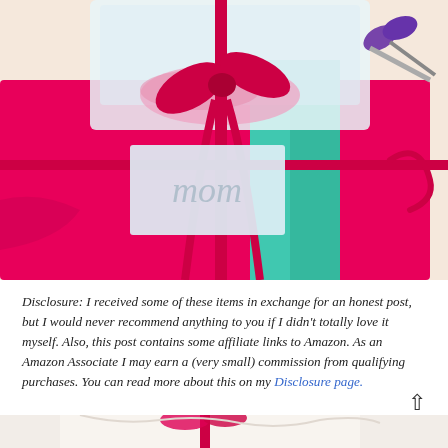[Figure (photo): A brightly wrapped gift package in hot pink and teal/turquoise with a red ribbon and bow, a white gift tag reading 'mom' in script, and purple scissors visible in the upper right corner on a light background.]
Disclosure: I received some of these items in exchange for an honest post, but I would never recommend anything to you if I didn't totally love it myself. Also, this post contains some affiliate links to Amazon. As an Amazon Associate I may earn a (very small) commission from qualifying purchases. You can read more about this on my Disclosure page.
[Figure (photo): Partial view of another gift wrapped in white tissue paper with a red ribbon, cropped at the bottom of the page.]